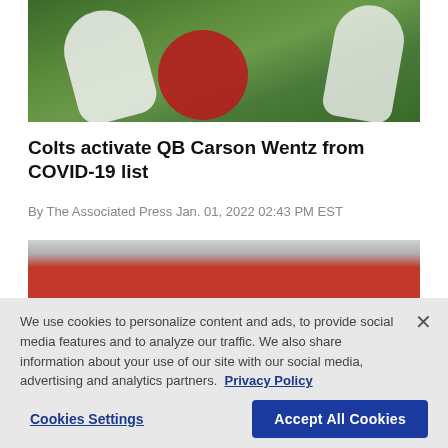[Figure (photo): Football game action shot showing players on a green field, one player in red uniform being tackled by players in white uniforms]
Colts activate QB Carson Wentz from COVID-19 list
By The Associated Press Jan. 01, 2022 02:43 PM EST
[Figure (photo): Partial view of a football stadium with red banners/signage visible in the stands]
We use cookies to personalize content and ads, to provide social media features and to analyze our traffic. We also share information about your use of our site with our social media, advertising and analytics partners. Privacy Policy
Cookies Settings  Accept All Cookies